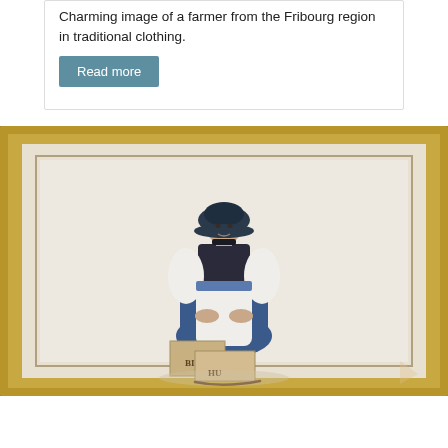Charming image of a farmer from the Fribourg region in traditional clothing.
Read more
[Figure (illustration): A framed painting in a gold frame showing a woman in traditional Fribourg regional costume — a wide dark bonnet, white blouse, dark vest, white apron, and blue skirt — seated next to wooden crates marked 'BI' and 'HU'.]